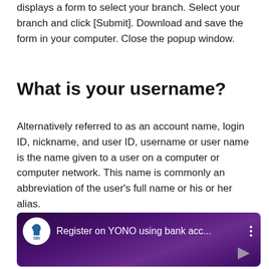displays a form to select your branch. Select your branch and click [Submit]. Download and save the form in your computer. Close the popup window.
What is your username?
Alternatively referred to as an account name, login ID, nickname, and user ID, username or user name is the name given to a user on a computer or computer network. This name is commonly an abbreviation of the user's full name or his or her alias.
[Figure (screenshot): SBI YouTube video thumbnail showing 'Register on YONO using bank acc...' with SBI logo circle and a play triangle button in the bottom right corner, on a dark purple gradient background.]